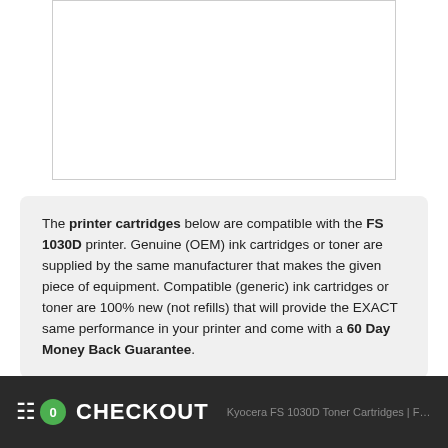[Figure (other): White rectangular image placeholder area with a light gray border]
The printer cartridges below are compatible with the FS 1030D printer. Genuine (OEM) ink cartridges or toner are supplied by the same manufacturer that makes the given piece of equipment. Compatible (generic) ink cartridges or toner are 100% new (not refills) that will provide the EXACT same performance in your printer and come with a 60 Day Money Back Guarantee.
0  CHECKOUT  Kyocera FS 1030D Toner Cartridges | FS...